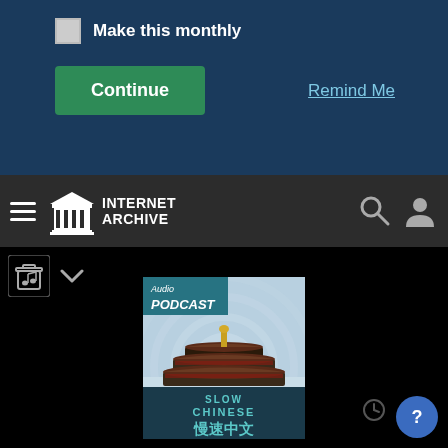Make this monthly
Continue
Remind Me
[Figure (logo): Internet Archive logo with Pantheon building icon and text 'INTERNET ARCHIVE']
[Figure (screenshot): Internet Archive website navigation bar with hamburger menu, logo, search icon, and user icon]
[Figure (illustration): Audio Podcast cover image for Slow Chinese (慢速中文) podcast showing Temple of Heaven building in Beijing with podcast-style radio wave arcs in background. Text reads 'Audio PODCAST', 'SLOW CHINESE', and Chinese characters 慢速中文]